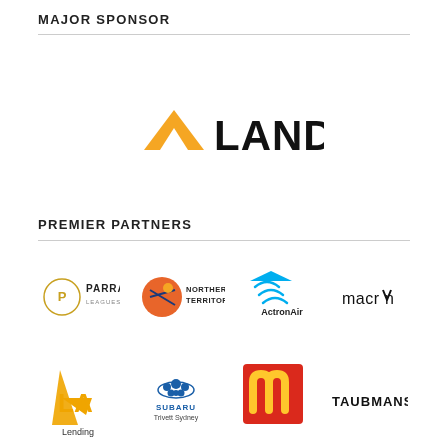MAJOR SPONSOR
[Figure (logo): ALAND logo - triangle arrow shape in orange/gold with text LAND in bold black]
PREMIER PARTNERS
[Figure (logo): Parra Leagues logo, Northern Territory logo, ActronAir logo, Macron logo]
[Figure (logo): LA Lending logo, Subaru Trivett Sydney logo, McDonald's logo, Taubmans logo]